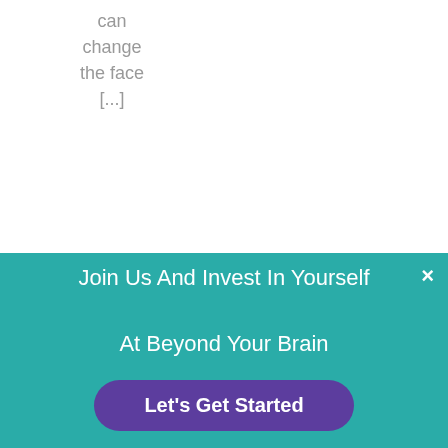can change the face [...]
[Figure (logo): SmartTribes Institute logo with colorful dot cluster graphic and text 'SmartTribes® INSTITUTE' in purple]
Join Us And Invest In Yourself At Beyond Your Brain
Let's Get Started